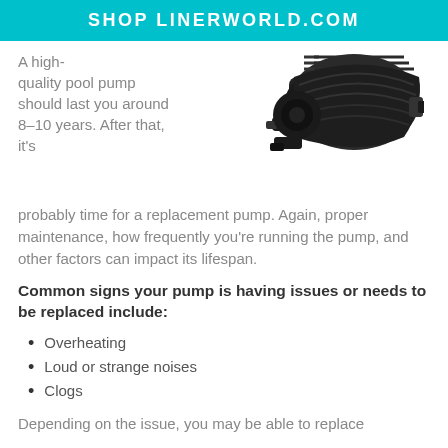SHOP LINERWORLD.COM
A high-quality pool pump should last you around 8-10 years. After that, it's probably time for a replacement pump. Again, proper maintenance, how frequently you're running the pump, and other factors can impact its lifespan.
[Figure (photo): Photo of a black pool pump motor unit, viewed from the side at a slight angle, showing the black casing and fittings.]
Common signs your pump is having issues or needs to be replaced include:
Overheating
Loud or strange noises
Clogs
Depending on the issue, you may be able to replace